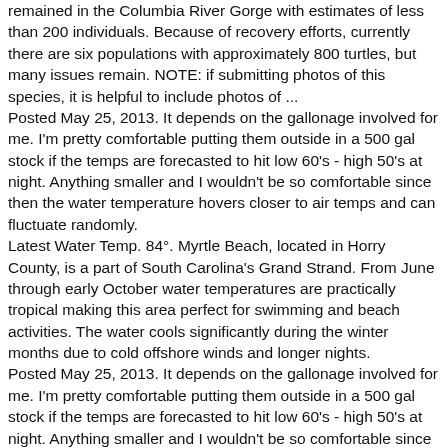remained in the Columbia River Gorge with estimates of less than 200 individuals. Because of recovery efforts, currently there are six populations with approximately 800 turtles, but many issues remain. NOTE: if submitting photos of this species, it is helpful to include photos of ...
Posted May 25, 2013. It depends on the gallonage involved for me. I'm pretty comfortable putting them outside in a 500 gal stock if the temps are forecasted to hit low 60's - high 50's at night. Anything smaller and I wouldn't be so comfortable since then the water temperature hovers closer to air temps and can fluctuate randomly.
Latest Water Temp. 84°. Myrtle Beach, located in Horry County, is a part of South Carolina's Grand Strand. From June through early October water temperatures are practically tropical making this area perfect for swimming and beach activities. The water cools significantly during the winter months due to cold offshore winds and longer nights.
Posted May 25, 2013. It depends on the gallonage involved for me. I'm pretty comfortable putting them outside in a 500 gal stock if the temps are forecasted to hit low 60's - high 50's at night. Anything smaller and I wouldn't be so comfortable since then the water temperature hovers closer to air temps and can fluctuate randomly.
Know the sea water temperature in Daytona Beach Shores (Sunglow Pier) and the hourly evolution for the next few days Tides4fishing cookies are used to personalise content and ads, save your recent fishing sites and remember your display settings.